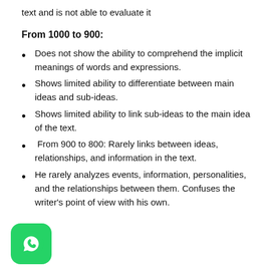text and is not able to evaluate it
From 1000 to 900:
Does not show the ability to comprehend the implicit meanings of words and expressions.
Shows limited ability to differentiate between main ideas and sub-ideas.
Shows limited ability to link sub-ideas to the main idea of the text.
From 900 to 800: Rarely links between ideas, relationships, and information in the text.
He rarely analyzes events, information, personalities, and the relationships between them. Confuses the writer's point of view with his own.